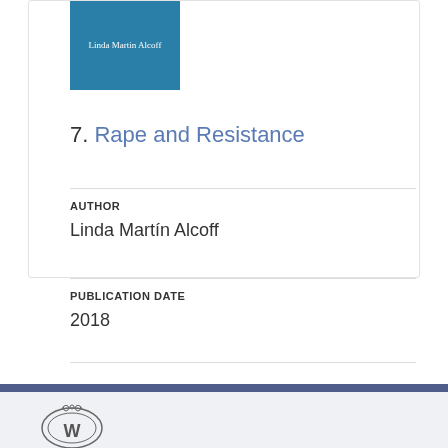[Figure (illustration): Teal/blue book cover with white text reading 'Linda Martin Alcoff']
7. Rape and Resistance
AUTHOR
Linda Martín Alcoff
PUBLICATION DATE
2018
[Figure (logo): University of Wisconsin 'W' logo seal in outline style]